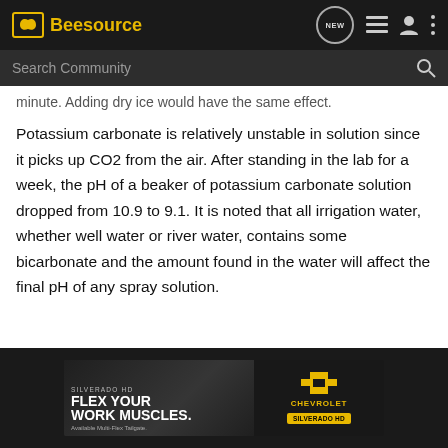Beesource
minute. Adding dry ice would have the same effect.
Potassium carbonate is relatively unstable in solution since it picks up CO2 from the air. After standing in the lab for a week, the pH of a beaker of potassium carbonate solution dropped from 10.9 to 9.1. It is noted that all irrigation water, whether well water or river water, contains some bicarbonate and the amount found in the water will affect the final pH of any spray solution.
[Figure (photo): Chevrolet Silverado HD truck advertisement with text: SILVERADO HD, FLEX YOUR WORK MUSCLES. Available Multi-Flex Tailgate. CHEVROLET Silverado HD]